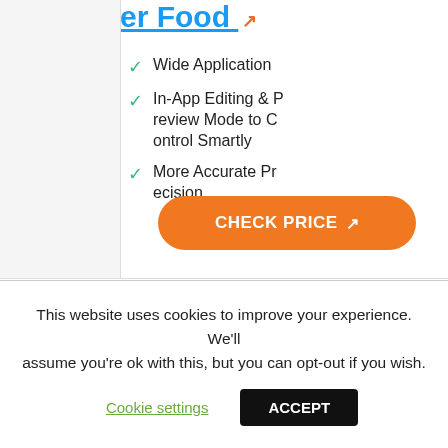er Food ↗
Wide Application
In-App Editing & Preview Mode to Control Smartly
More Accurate Precision
CHECK PRICE ↗
PORTABLE AND STRONG LIGHT DESIGN
LaserPecker Compact Laser Engra
[Figure (photo): Product image of a small cylindrical laser engraver device]
This website uses cookies to improve your experience. We'll assume you're ok with this, but you can opt-out if you wish.
Cookie settings
ACCEPT